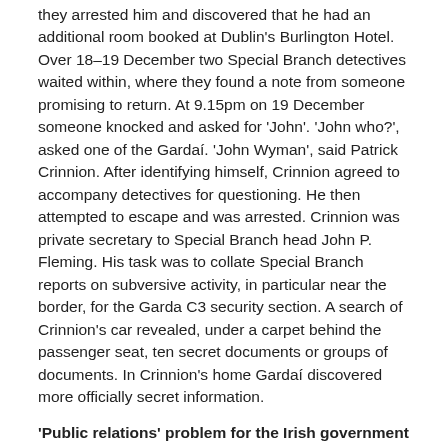they arrested him and discovered that he had an additional room booked at Dublin's Burlington Hotel. Over 18–19 December two Special Branch detectives waited within, where they found a note from someone promising to return. At 9.15pm on 19 December someone knocked and asked for 'John'. 'John who?', asked one of the Gardaí. 'John Wyman', said Patrick Crinnion. After identifying himself, Crinnion agreed to accompany detectives for questioning. He then attempted to escape and was arrested. Crinnion was private secretary to Special Branch head John P. Fleming. His task was to collate Special Branch reports on subversive activity, in particular near the border, for the Garda C3 security section. A search of Crinnion's car revealed, under a carpet behind the passenger seat, ten secret documents or groups of documents. In Crinnion's home Gardaí discovered more officially secret information.
'Public relations' problem for the Irish government
A 23 December 1972 memo to British prime minister Edward Heath from his private secretary, Robert Armstrong, outlined a meeting on Wyman's arrest with Irish ambassador Dr Dónal O'Sullivan. The ambassador told Armstrong that